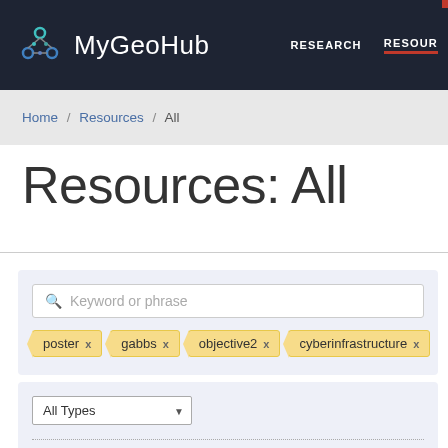MyGeoHub | RESEARCH | RESOUR
Home / Resources / All
Resources: All
Keyword or phrase
poster x
gabbs x
objective2 x
cyberinfrastructure x
All Types